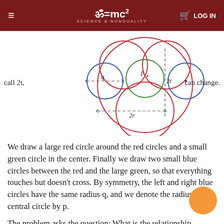ॐ=mc² SCIENCE & NONDUALITY  LOG IN
[Figure (illustration): Geometric diagram showing a large red circle containing several smaller red circles arranged in a flower-like pattern, a small green circle in the center labeled p, two blue circles on the left and right labeled q and with a dot, dashed lines indicating radii labeled 2r (horizontal) and 2t (vertical), on a white background.]
call 2t,
can change.
We draw a large red circle around the red circles and a small green circle in the center. Finally we draw two small blue circles between the red and the large green, so that everything touches but doesn't cross. By symmetry, the left and right blue circles have the same radius q, and we denote the radius of the central circle by p.
The problem asks the question: What is the relationship